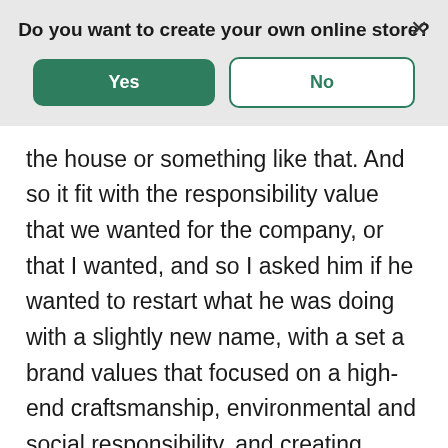Do you want to create your own online store?
[Figure (screenshot): Modal dialog with Yes (green filled button) and No (green outlined button) options, and an X close button]
the house or something like that. And so it fit with the responsibility value that we wanted for the company, or that I wanted, and so I asked him if he wanted to restart what he was doing with a slightly new name, with a set a brand values that focused on a high-end craftsmanship, environmental and social responsibility, and creating products for real surfers out in the world.
Felix: Got it. So this was already a product that